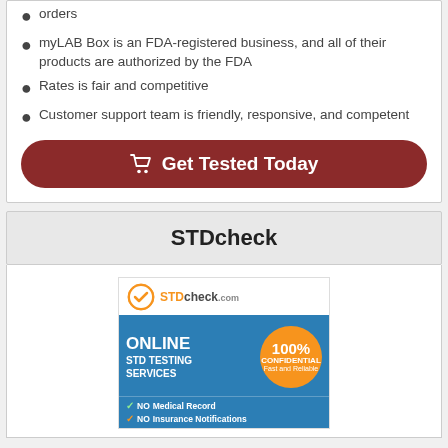orders
myLAB Box is an FDA-registered business, and all of their products are authorized by the FDA
Rates is fair and competitive
Customer support team is friendly, responsive, and competent
Get Tested Today
STDcheck
[Figure (logo): STDcheck.com advertisement banner showing online STD testing services, 100% confidential, fast and reliable, no medical record, no insurance notifications]